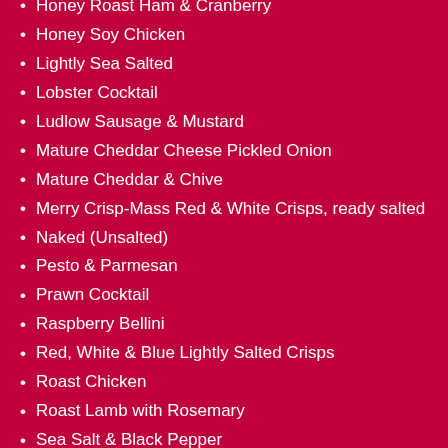Honey Roast Ham & Cranberry
Honey Soy Chicken
Lightly Sea Salted
Lobster Cocktail
Ludlow Sausage & Mustard
Mature Cheddar Cheese Pickled Onion
Mature Cheddar & Chive
Merry Crisp-Mass Red & White Crisps, ready salted
Naked (Unsalted)
Pesto & Parmesan
Prawn Cocktail
Raspberry Bellini
Red, White & Blue Lightly Salted Crisps
Roast Chicken
Roast Lamb with Rosemary
Sea Salt & Black Pepper
Sea Salt & Cider Vinegar
Sea Salt & Cracked Black Pepper